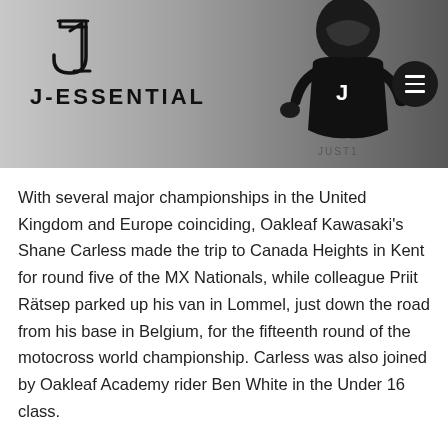[Figure (photo): J-Essential brand banner showing logo with stylized J1 monogram, J-ESSENTIAL text, and a motocross rider in black gear and helmet on a gray background, with a dark circular menu button on the right.]
With several major championships in the United Kingdom and Europe coinciding, Oakleaf Kawasaki's Shane Carless made the trip to Canada Heights in Kent for round five of the MX Nationals, while colleague Priit Rätsep parked up his van in Lommel, just down the road from his base in Belgium, for the fifteenth round of the motocross world championship. Carless was also joined by Oakleaf Academy rider Ben White in the Under 16 class.